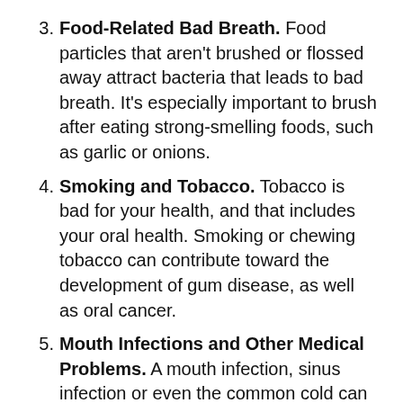3. Food-Related Bad Breath. Food particles that aren't brushed or flossed away attract bacteria that leads to bad breath. It's especially important to brush after eating strong-smelling foods, such as garlic or onions.
4. Smoking and Tobacco. Tobacco is bad for your health, and that includes your oral health. Smoking or chewing tobacco can contribute toward the development of gum disease, as well as oral cancer.
5. Mouth Infections and Other Medical Problems. A mouth infection, sinus infection or even the common cold can cause you to temporarily have bad breath. Even conditions such as diabetes and reflux can cause halitosis. It's always wise to see